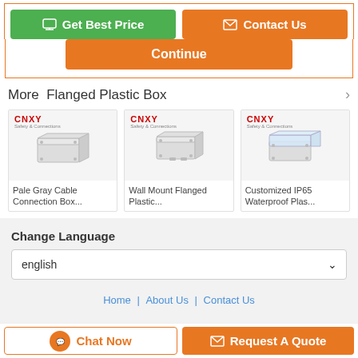Get Best Price
Contact Us
Continue
More  Flanged Plastic Box
[Figure (photo): CNXY brand pale gray plastic cable connection box, rectangular enclosure]
Pale Gray Cable Connection Box...
[Figure (photo): CNXY brand wall mount flanged plastic box]
Wall Mount Flanged Plastic...
[Figure (photo): CNXY brand customized IP65 waterproof plastic enclosure with transparent lid]
Customized IP65 Waterproof Plas...
Change Language
english
Home | About Us | Contact Us
Chat Now
Request A Quote